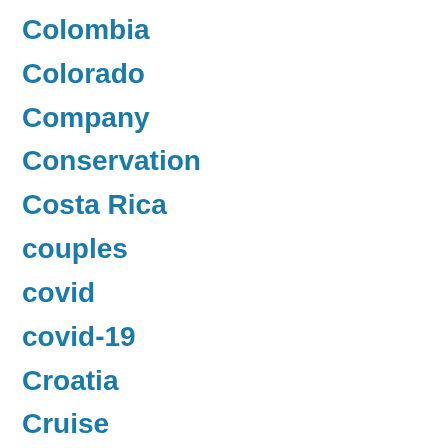Colombia
Colorado
Company
Conservation
Costa Rica
couples
covid
covid-19
Croatia
Cruise
Culture